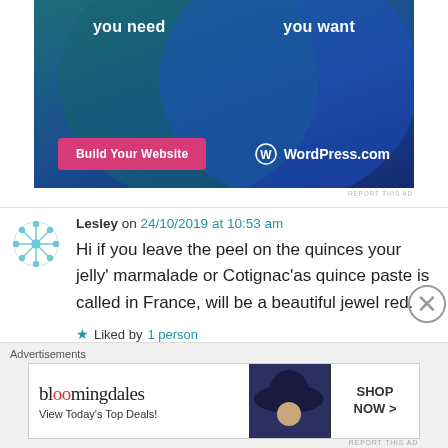[Figure (screenshot): WordPress.com advertisement banner with teal/blue gradient background, two overlapping circles, text 'you need' and 'you want', a pink 'Build Your Website' button, and WordPress.com logo]
REPORT THIS AD
Lesley on 24/10/2019 at 10:53 am
Hi if you leave the peel on the quinces your jelly' marmalade or Cotignac'as quince paste is called in France, will be a beautiful jewel red.
Liked by 1 person
↵ Reply
Advertisements
[Figure (screenshot): Bloomingdale's advertisement with woman in large hat, text 'View Today's Top Deals!' and 'SHOP NOW >' button]
REPORT THIS AD